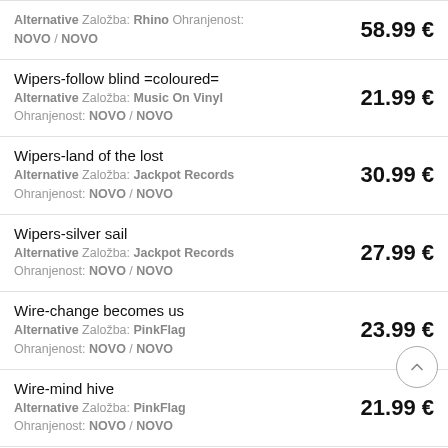Alternative Založba: Rhino Ohranjenost: NOVO / NOVO — 58.99 €
Wipers-follow blind =coloured= Alternative Založba: Music On Vinyl Ohranjenost: NOVO / NOVO — 21.99 €
Wipers-land of the lost Alternative Založba: Jackpot Records Ohranjenost: NOVO / NOVO — 30.99 €
Wipers-silver sail Alternative Založba: Jackpot Records Ohranjenost: NOVO / NOVO — 27.99 €
Wire-change becomes us Alternative Založba: PinkFlag Ohranjenost: NOVO / NOVO — 23.99 €
Wire-mind hive Alternative Založba: PinkFlag Ohranjenost: NOVO / NOVO — 21.99 €
Wire-noctural koreans Alternative Založba: PinkFlag — 19.99 €